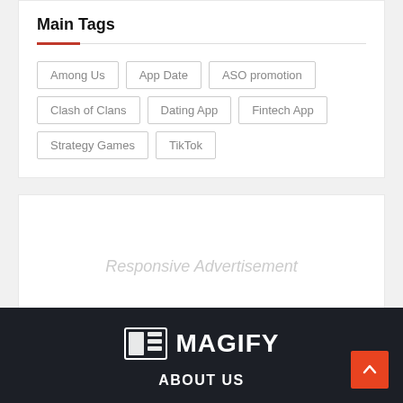Main Tags
Among Us
App Date
ASO promotion
Clash of Clans
Dating App
Fintech App
Strategy Games
TikTok
Responsive Advertisement
[Figure (logo): MAGIFY logo with newspaper icon and text]
ABOUT US